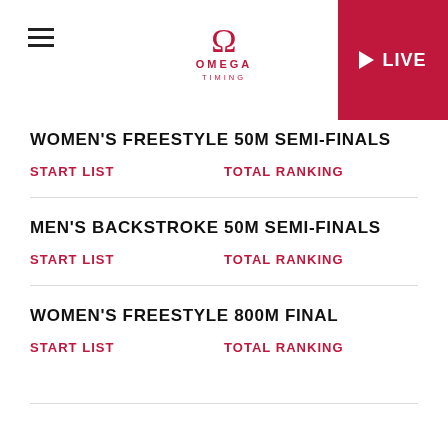OMEGA TIMING — LIVE
WOMEN'S FREESTYLE 50M SEMI-FINALS
START LIST
TOTAL RANKING
MEN'S BACKSTROKE 50M SEMI-FINALS
START LIST
TOTAL RANKING
WOMEN'S FREESTYLE 800M FINAL
START LIST
TOTAL RANKING